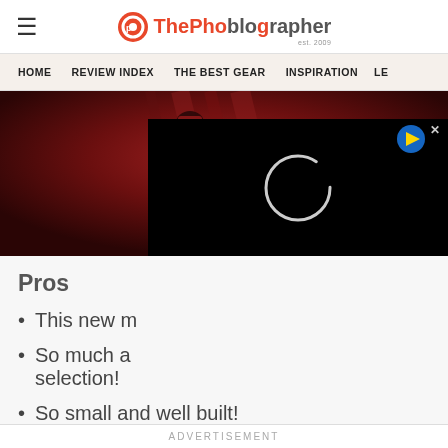ThePhoblographer
HOME | REVIEW INDEX | THE BEST GEAR | INSPIRATION | LE...
[Figure (photo): Dark red-toned hero image showing a figure in dark clothing against a red background, with a black video player overlay showing a loading spinner circle]
Pros
This new m...
So much a... selection!
So small and well built!
ADVERTISEMENT